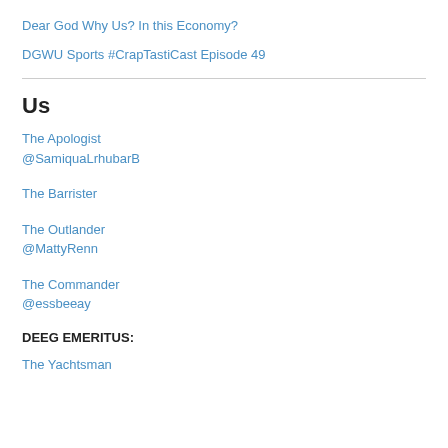Dear God Why Us? In this Economy?
DGWU Sports #CrapTastiCast Episode 49
Us
The Apologist
@SamiquaLrhubarB
The Barrister
The Outlander
@MattyRenn
The Commander
@essbeeay
DEEG EMERITUS:
The Yachtsman